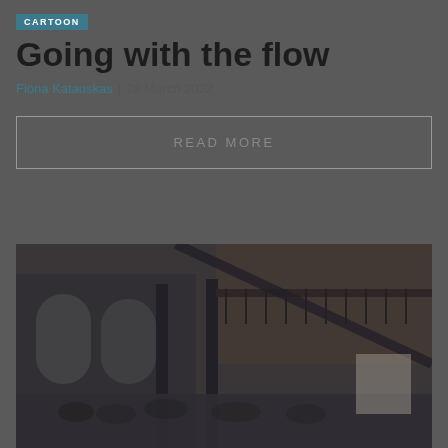CARTOON
Going with the flow
Fiona Katauskas | 28 March 2022
READ MORE
[Figure (photo): Interior of a large hall or library with arched windows, iron columns, balcony railings, and people gathered inside, dark atmospheric tones]